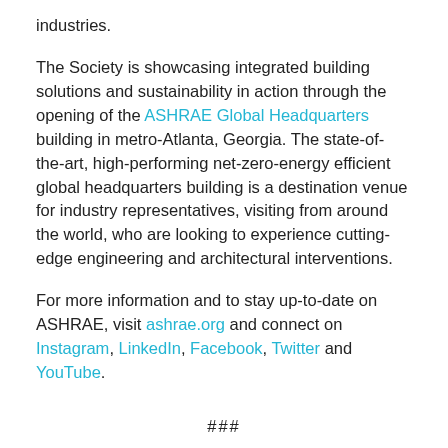industries.
The Society is showcasing integrated building solutions and sustainability in action through the opening of the ASHRAE Global Headquarters building in metro-Atlanta, Georgia. The state-of-the-art, high-performing net-zero-energy efficient global headquarters building is a destination venue for industry representatives, visiting from around the world, who are looking to experience cutting-edge engineering and architectural interventions.
For more information and to stay up-to-date on ASHRAE, visit ashrae.org and connect on Instagram, LinkedIn, Facebook, Twitter and YouTube.
###